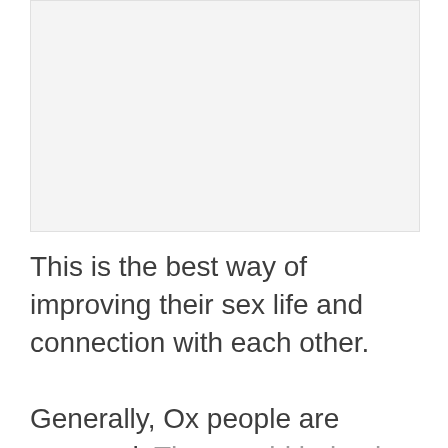[Figure (photo): A light gray rectangular placeholder image occupying the top portion of the page.]
This is the best way of improving their sex life and connection with each other.
Generally, Ox people are reserved. They avoid being in the public limelight if they can help it. However,